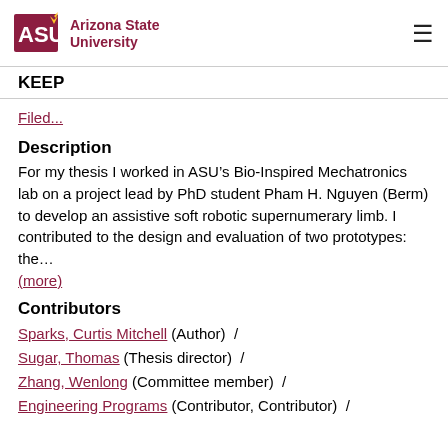ASU Arizona State University
KEEP
Filed...
Description
For my thesis I worked in ASU’s Bio-Inspired Mechatronics lab on a project lead by PhD student Pham H. Nguyen (Berm) to develop an assistive soft robotic supernumerary limb. I contributed to the design and evaluation of two prototypes: the…
(more)
Contributors
Sparks, Curtis Mitchell (Author) /
Sugar, Thomas (Thesis director) /
Zhang, Wenlong (Committee member) /
Engineering Programs (Contributor, Contributor) /